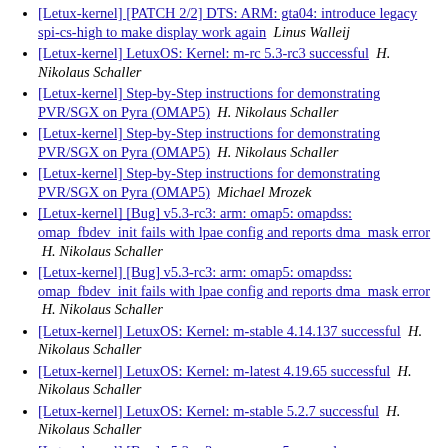[Letux-kernel] [PATCH 2/2] DTS: ARM: gta04: introduce legacy spi-cs-high to make display work again  Linus Walleij
[Letux-kernel] LetuxOS: Kernel: m-rc 5.3-rc3 successful  H. Nikolaus Schaller
[Letux-kernel] Step-by-Step instructions for demonstrating PVR/SGX on Pyra (OMAP5)  H. Nikolaus Schaller
[Letux-kernel] Step-by-Step instructions for demonstrating PVR/SGX on Pyra (OMAP5)  H. Nikolaus Schaller
[Letux-kernel] Step-by-Step instructions for demonstrating PVR/SGX on Pyra (OMAP5)  Michael Mrozek
[Letux-kernel] [Bug] v5.3-rc3: arm: omap5: omapdss: omap_fbdev_init fails with lpae config and reports dma_mask error  H. Nikolaus Schaller
[Letux-kernel] [Bug] v5.3-rc3: arm: omap5: omapdss: omap_fbdev_init fails with lpae config and reports dma_mask error  H. Nikolaus Schaller
[Letux-kernel] LetuxOS: Kernel: m-stable 4.14.137 successful  H. Nikolaus Schaller
[Letux-kernel] LetuxOS: Kernel: m-latest 4.19.65 successful  H. Nikolaus Schaller
[Letux-kernel] LetuxOS: Kernel: m-stable 5.2.7 successful  H. Nikolaus Schaller
[Letux-kernel] [Bug] v5.3-rc3: arm: omap5: omapdss: omap_fbdev_init fails with lpae config and reports dma_mask error  Christoph Hellwig